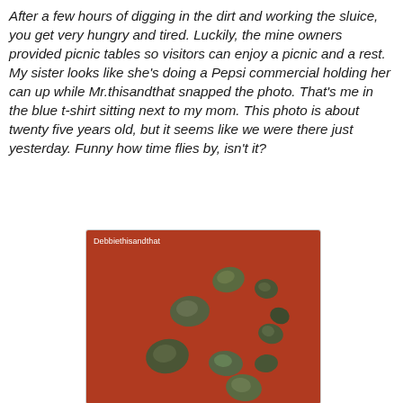After a few hours of digging in the dirt and working the sluice, you get very hungry and tired. Luckily, the mine owners provided picnic tables so visitors can enjoy a picnic and a rest. My sister looks like she's doing a Pepsi commercial holding her can up while Mr.thisandthat snapped the photo. That's me in the blue t-shirt sitting next to my mom. This photo is about twenty five years old, but it seems like we were there just yesterday. Funny how time flies by, isn't it?
[Figure (photo): Photo of several small greenish-gray mineral rocks/nuggets arranged on a red-brown surface. White text 'Debbiethisandthat' appears in the upper left corner of the photo.]